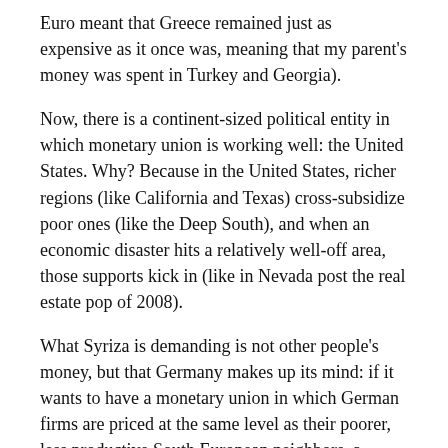Euro meant that Greece remained just as expensive as it once was, meaning that my parent's money was spent in Turkey and Georgia).
Now, there is a continent-sized political entity in which monetary union is working well: the United States. Why? Because in the United States, richer regions (like California and Texas) cross-subsidize poor ones (like the Deep South), and when an economic disaster hits a relatively well-off area, those supports kick in (like in Nevada post the real estate pop of 2008).
What Syriza is demanding is not other people's money, but that Germany makes up its mind: if it wants to have a monetary union in which German firms are priced at the same level as their poorer, less productive South European neighbors, a policy from which it reaps huge benefits, Germany will have to do what Californians and Texans do: pay for it. Right now, the Germans are having both of best worlds, at the expense of the rest of Europe, and that